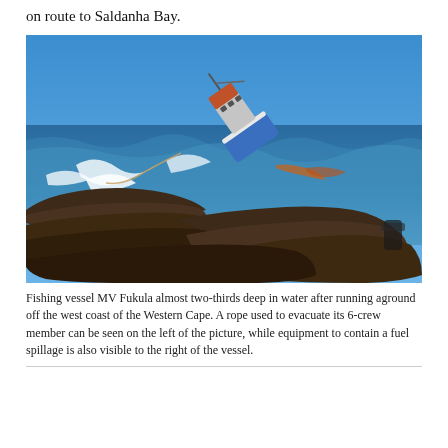on route to Saldanha Bay.
[Figure (photo): Photograph of fishing vessel MV Fukula almost two-thirds submerged in water, tilted heavily to its side, having run aground off rocky coastline on the west coast of the Western Cape. Waves are crashing around the vessel. A rope is visible on the left side of the vessel and equipment to contain a fuel spillage is visible to the right.]
Fishing vessel MV Fukula almost two-thirds deep in water after running aground off the west coast of the Western Cape. A rope used to evacuate its 6-crew member can be seen on the left of the picture, while equipment to contain a fuel spillage is also visible to the right of the vessel.